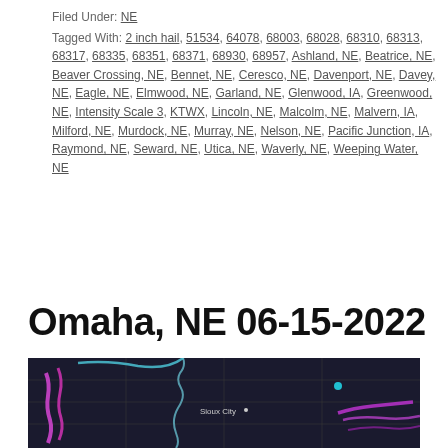Filed Under: NE
Tagged With: 2 inch hail, 51534, 64078, 68003, 68028, 68310, 68313, 68317, 68335, 68351, 68371, 68930, 68957, Ashland, NE, Beatrice, NE, Beaver Crossing, NE, Bennet, NE, Ceresco, NE, Davenport, NE, Davey, NE, Eagle, NE, Elmwood, NE, Garland, NE, Glenwood, IA, Greenwood, NE, Intensity Scale 3, KTWX, Lincoln, NE, Malcolm, NE, Malvern, IA, Milford, NE, Murdock, NE, Murray, NE, Nelson, NE, Pacific Junction, IA, Raymond, NE, Seward, NE, Utica, NE, Waverly, NE, Weeping Water, NE
Omaha, NE 06-15-2022
[Figure (map): Dark map showing hail storm tracks near Sioux City area with pink/magenta and cyan/teal colored markers indicating storm paths across Nebraska and Iowa region on 06-15-2022]